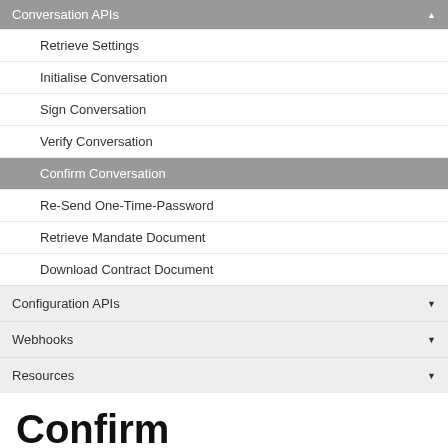Conversation APIs
Retrieve Settings
Initialise Conversation
Sign Conversation
Verify Conversation
Confirm Conversation
Re-Send One-Time-Password
Retrieve Mandate Document
Download Contract Document
Configuration APIs
Webhooks
Resources
Confirm Conversation
Summary: Use the Confirm service to complete the e-mandate signup.